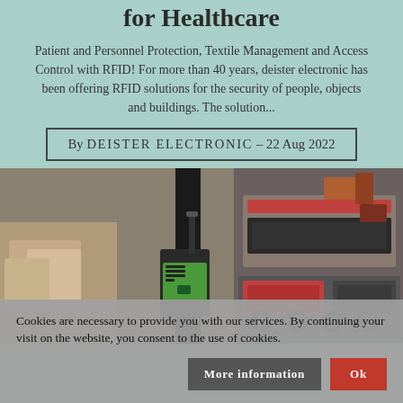for Healthcare
Patient and Personnel Protection, Textile Management and Access Control with RFID! For more than 40 years, deister electronic has been offering RFID solutions for the security of people, objects and buildings. The solution...
By DEISTER ELECTRONIC – 22 Aug 2022
[Figure (photo): Industrial RFID reader device (black and green) attached to a pole/rail system, with machinery and conveyor equipment in the background.]
Cookies are necessary to provide you with our services. By continuing your visit on the website, you consent to the use of cookies.